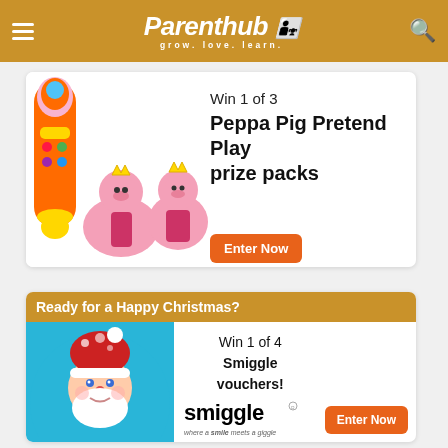Parenthub — grow. love. learn.
[Figure (illustration): Promotional card: Win 1 of 3 Peppa Pig Pretend Play prize packs with Peppa Pig toy images and Enter Now button]
[Figure (illustration): Promotional card: Ready for a Happy Christmas? Win 1 of 4 Smiggle vouchers with Santa illustration and Enter Now button]